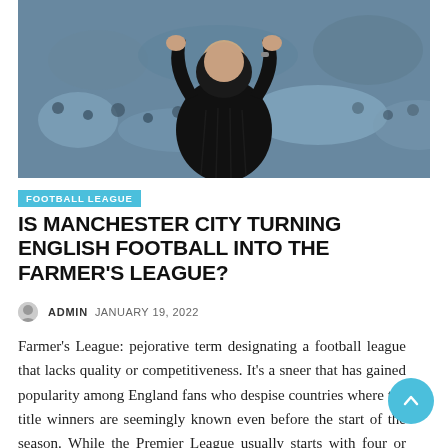[Figure (photo): A football manager in a black puffer jacket and hoodie gesturing with hands raised on a football pitch sideline, with a blurred crowd in the background]
FOOTBALL LEAGUE
IS MANCHESTER CITY TURNING ENGLISH FOOTBALL INTO THE FARMER'S LEAGUE?
ADMIN  JANUARY 19, 2022
Farmer's League: pejorative term designating a football league that lacks quality or competitiveness. It's a sneer that has gained popularity among England fans who despise countries where the title winners are seemingly known even before the start of the season. While the Premier League usually starts with four or five teams